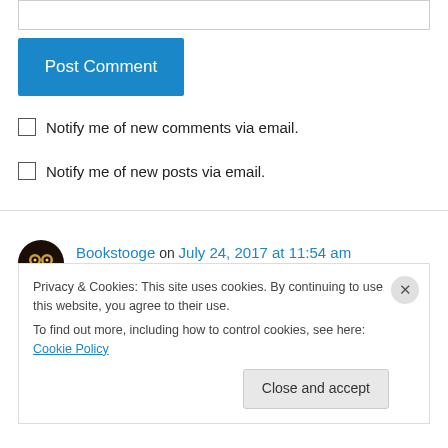Post Comment
Notify me of new comments via email.
Notify me of new posts via email.
Bookstooge on July 24, 2017 at 11:54 am
I've read Farlander and really enjoyed it. But for some reason I've never had any real desire to
Privacy & Cookies: This site uses cookies. By continuing to use this website, you agree to their use. To find out more, including how to control cookies, see here: Cookie Policy
Close and accept